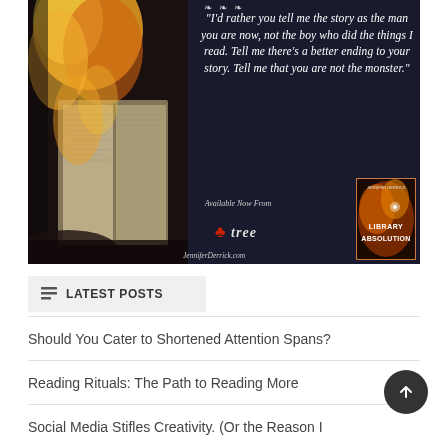[Figure (illustration): Book promotional image for 'Library Absolution' by Jennifer Derrick. Dark background with flames and a burning book on the left. White italic serif quote text: "I'd rather you tell me the story as the man you are now, not the boy who did the things I read. Tell me there's a better ending to your story. Tell me that you are not the monster." Bottom shows 'Available Now From' with Burning Tree publisher logo and a book cover thumbnail. JenniferDerrick.com watermark.]
LATEST POSTS
Should You Cater to Shortened Attention Spans?
Reading Rituals: The Path to Reading More
Social Media Stifles Creativity. (Or the Reason I